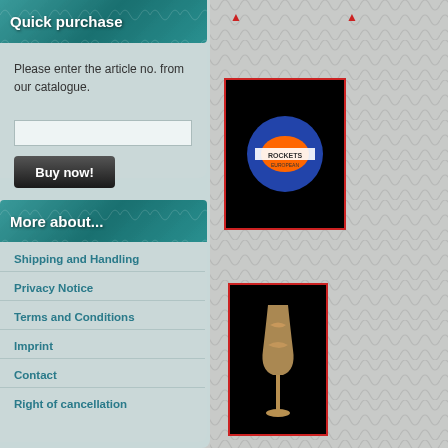Quick purchase
Please enter the article no. from our catalogue.
More about...
Shipping and Handling
Privacy Notice
Terms and Conditions
Imprint
Contact
Right of cancellation
[Figure (photo): Product image on black background showing a circular sticker/logo with blue and orange colors]
[Figure (photo): Product image on black background showing a champagne flute or decorative glass]